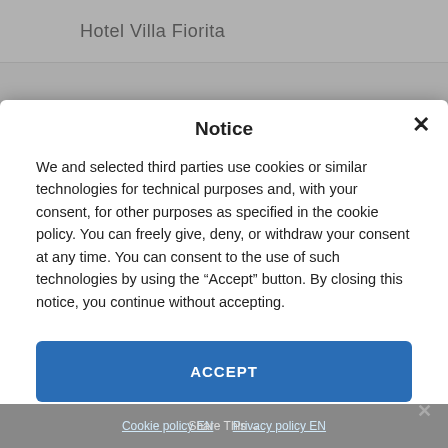Hotel Villa Fiorita
Notice
We and selected third parties use cookies or similar technologies for technical purposes and, with your consent, for other purposes as specified in the cookie policy. You can freely give, deny, or withdraw your consent at any time. You can consent to the use of such technologies by using the “Accept” button. By closing this notice, you continue without accepting.
ACCEPT
REJECT
PREFERENCES
Cookie policy EN   Privacy policy EN   Share This